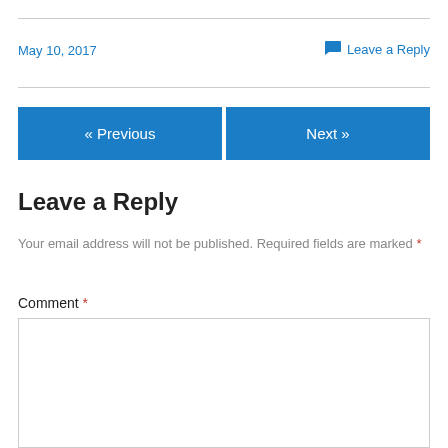May 10, 2017
Leave a Reply
« Previous
Next »
Leave a Reply
Your email address will not be published. Required fields are marked *
Comment *